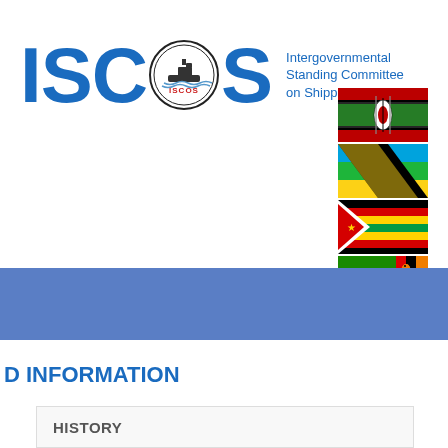[Figure (logo): ISCOS logo with letters I, S, C (replaced by circular emblem with ship), O, S in blue, circular emblem with ISCOS text and ship illustration, followed by text 'Intergovernmental Standing Committee on Shipping' in blue]
[Figure (illustration): Four African country flags stacked vertically: Kenya, Tanzania, Zimbabwe, Zambia]
[Figure (other): Blue horizontal banner/divider]
D INFORMATION
| HISTORY |